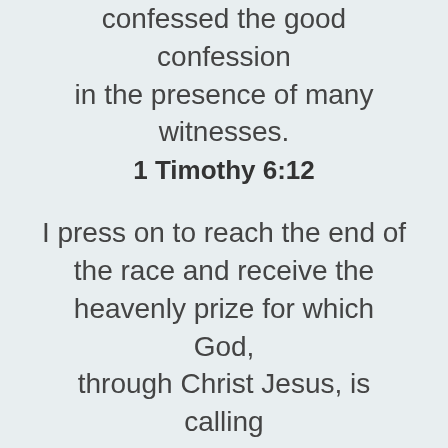confessed the good confession in the presence of many witnesses.
1 Timothy 6:12
I press on to reach the end of the race and receive the heavenly prize for which God, through Christ Jesus, is calling us.
Philippians 3:14, NLT
You were running a good race. Who cut in on you and kept you from obeying the truth?